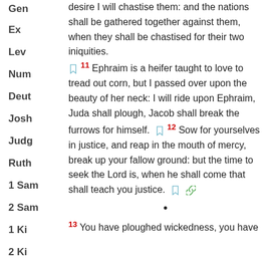Gen
Ex
Lev
Num
Deut
Josh
Judg
Ruth
1 Sam
2 Sam
1 Ki
2 Ki
1 Chron
2 Chron
desire I will chastise them: and the nations shall be gathered together against them, when they shall be chastised for their two iniquities. 11 Ephraim is a heifer taught to love to tread out corn, but I passed over upon the beauty of her neck: I will ride upon Ephraim, Juda shall plough, Jacob shall break the furrows for himself. 12 Sow for yourselves in justice, and reap in the mouth of mercy, break up your fallow ground: but the time to seek the Lord is, when he shall come that shall teach you justice. 13 You have ploughed wickedness, you have